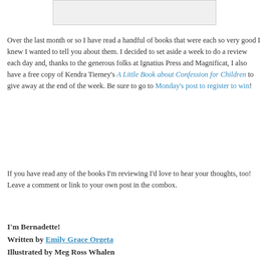[Figure (other): Image placeholder box at top of page]
Over the last month or so I have read a handful of books that were each so very good I knew I wanted to tell you about them. I decided to set aside a week to do a review each day and, thanks to the generous folks at Ignatius Press and Magnificat, I also have a free copy of Kendra Tierney's A Little Book about Confession for Children to give away at the end of the week. Be sure to go to Monday's post to register to win!
If you have read any of the books I'm reviewing I'd love to hear your thoughts, too! Leave a comment or link to your own post in the combox.
I'm Bernadette!
Written by Emily Grace Orgeta
Illustrated by Meg Ross Whalen